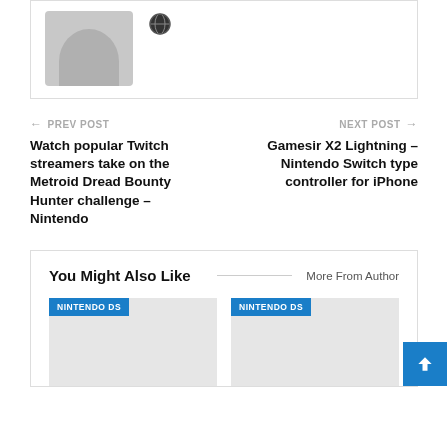[Figure (photo): User avatar placeholder (gray silhouette) with a globe/world icon next to it, inside a bordered card]
← PREV POST
Watch popular Twitch streamers take on the Metroid Dread Bounty Hunter challenge – Nintendo
NEXT POST →
Gamesir X2 Lightning – Nintendo Switch type controller for iPhone
You Might Also Like
More From Author
[Figure (photo): Card thumbnail placeholder with NINTENDO DS badge]
[Figure (photo): Card thumbnail placeholder with NINTENDO DS badge]